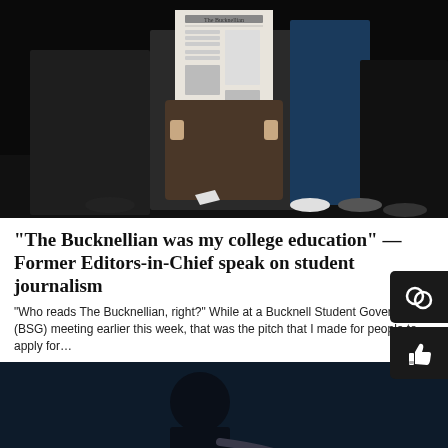[Figure (photo): Group of students holding up a copy of The Bucknellian student newspaper, photographed in black and white style against a dark background]
“The Bucknellian was my college education” — Former Editors-in-Chief speak on student journalism
“Who reads The Bucknellian, right?” While at a Bucknell Student Government (BSG) meeting earlier this week, that was the pitch that I made for people to apply for…
[Figure (photo): Dark background photo showing partial view of a person, bottom portion of the page]